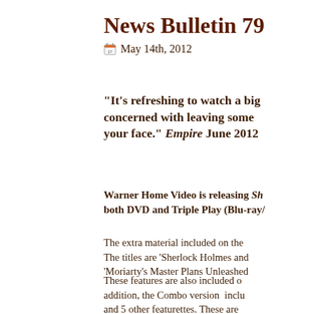News Bulletin 79
May 14th, 2012
“It’s refreshing to watch a big concerned with leaving some your face.” Empire June 2012
Warner Home Video is releasing Sh both DVD and Triple Play (Blu-ray/
The extra material included on the The titles are ‘Sherlock Holmes and ‘Moriarty’s Master Plans Unleashed
These features are also included o addition, the Combo version inclu and 5 other featurettes. These are Sherlock Holmes hosted by Robert ‘Sherlock Holmes: Under the Gyps Well-Oiled Machine.’